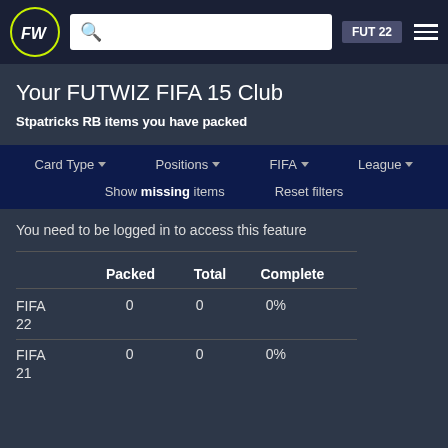FUTWIZ FUT 22 navigation bar with logo, search, and menu
Your FUTWIZ FIFA 15 Club
Stpatricks RB items you have packed
Card Type ▾   Positions ▾   FIFA ▾   League ▾
Show missing items   Reset filters
You need to be logged in to access this feature
|  | Packed | Total | Complete |
| --- | --- | --- | --- |
| FIFA 22 | 0 | 0 | 0% |
| FIFA 21 | 0 | 0 | 0% |